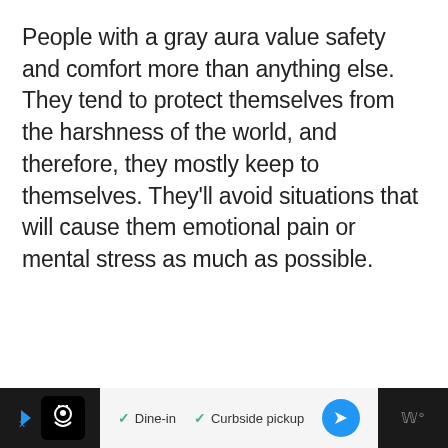People with a gray aura value safety and comfort more than anything else. They tend to protect themselves from the harshness of the world, and therefore, they mostly keep to themselves. They'll avoid situations that will cause them emotional pain or mental stress as much as possible.
[Figure (other): Advertisement bar at the bottom of the screen showing a restaurant icon, Dine-in and Curbside pickup options with checkmarks, a blue navigation arrow button, and a gray weather/other icon on the right.]